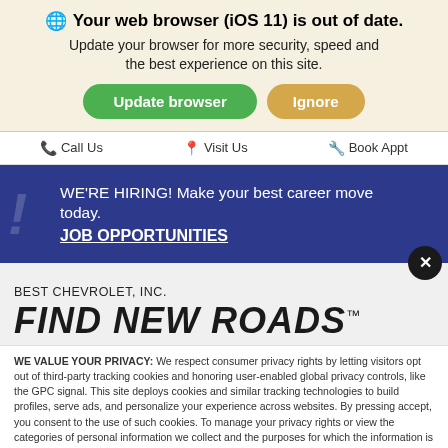Your web browser (iOS 11) is out of date. Update your browser for more security, speed and the best experience on this site.
Update browser | Ignore
Call Us  Visit Us  Book Appt
WE'RE HIRING! Make your best career move today. JOB OPPORTUNITIES
BEST CHEVROLET, INC.
FIND NEW ROADS™
WE VALUE YOUR PRIVACY: We respect consumer privacy rights by letting visitors opt out of third-party tracking cookies and honoring user-enabled global privacy controls, like the GPC signal. This site deploys cookies and similar tracking technologies to build profiles, serve ads, and personalize your experience across websites. By pressing accept, you consent to the use of such cookies. To manage your privacy rights or view the categories of personal information we collect and the purposes for which the information is used, click here.
Language: English   Powered by ComplyAuto
Accept and Continue →   Privacy Policy